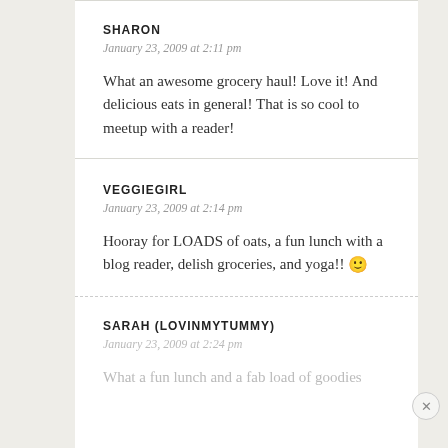SHARON
January 23, 2009 at 2:11 pm
What an awesome grocery haul! Love it! And delicious eats in general! That is so cool to meetup with a reader!
VEGGIEGIRL
January 23, 2009 at 2:14 pm
Hooray for LOADS of oats, a fun lunch with a blog reader, delish groceries, and yoga!! 🙂
SARAH (LOVINMYTUMMY)
January 23, 2009 at 2:24 pm
What a fun lunch and a fab load of goodies